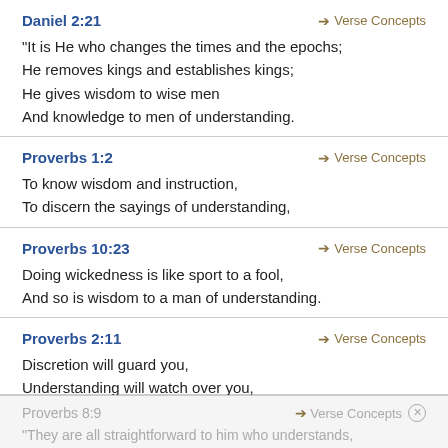Daniel 2:21 → Verse Concepts
“It is He who changes the times and the epochs;
He removes kings and establishes kings;
He gives wisdom to wise men
And knowledge to men of understanding.
Proverbs 1:2 → Verse Concepts
To know wisdom and instruction,
To discern the sayings of understanding,
Proverbs 10:23 → Verse Concepts
Doing wickedness is like sport to a fool,
And so is wisdom to a man of understanding.
Proverbs 2:11 → Verse Concepts
Discretion will guard you,
Understanding will watch over you,
Proverbs 8:9 → Verse Concepts ×
“They are all straightforward to him who understands,